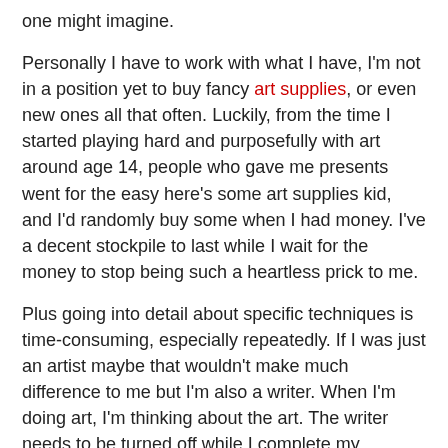one might imagine.
Personally I have to work with what I have, I'm not in a position yet to buy fancy art supplies, or even new ones all that often. Luckily, from the time I started playing hard and purposefully with art around age 14, people who gave me presents went for the easy here's some art supplies kid, and I'd randomly buy some when I had money. I've a decent stockpile to last while I wait for the money to stop being such a heartless prick to me.
Plus going into detail about specific techniques is time-consuming, especially repeatedly. If I was just an artist maybe that wouldn't make much difference to me but I'm also a writer. When I'm doing art, I'm thinking about the art. The writer needs to be turned off while I complete my illustration, painting or whatever if it's not for sequential art purposes. The project, not the ins & outs of what specifically I'm doing, that stuff goes to or comes from a more subconscious place and I get lost in it. I like to work fast and hard, from deep inside where explanation is more like a stranger.